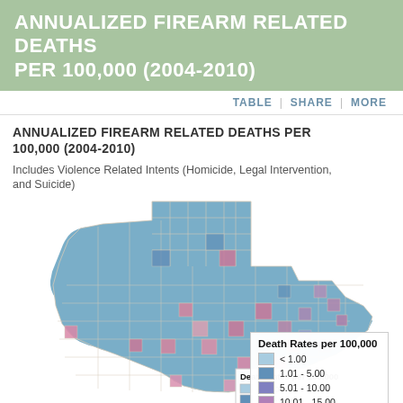ANNUALIZED FIREARM RELATED DEATHS PER 100,000 (2004-2010)
TABLE | SHARE | MORE
ANNUALIZED FIREARM RELATED DEATHS PER 100,000 (2004-2010)
Includes Violence Related Intents (Homicide, Legal Intervention, and Suicide)
[Figure (map): Choropleth map of Texas counties showing annualized firearm related deaths per 100,000 (2004-2010). Counties are shaded in shades of blue and pink/purple indicating death rates. A legend shows: < 1.00 (light blue), 1.01-5.00 (medium blue), 5.01-10.00 (blue-purple), 10.01-15.00 (medium purple/pink), 15.01-20.00 (darker pink/purple). Most counties appear in the blue range with some pink/purple counties scattered throughout.]